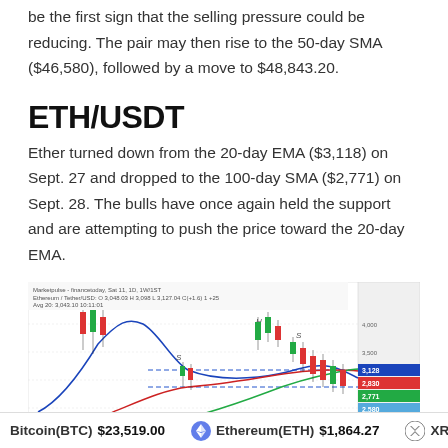be the first sign that the selling pressure could be reducing. The pair may then rise to the 50-day SMA ($46,580), followed by a move to $48,843.20.
ETH/USDT
Ether turned down from the 20-day EMA ($3,118) on Sept. 27 and dropped to the 100-day SMA ($2,771) on Sept. 28. The bulls have once again held the support and are attempting to push the price toward the 20-day EMA.
[Figure (continuous-plot): ETH/USDT candlestick chart showing price action with multiple moving averages (blue, red, green lines), dashed horizontal support/resistance levels, head-and-shoulders pattern labeled with H and S markers, and a panel on the right showing price levels around 3,128, 2,830, 2,771, and 2,580.]
Bitcoin(BTC) $23,519.00   Ethereum(ETH) $1,864.27   XRP(